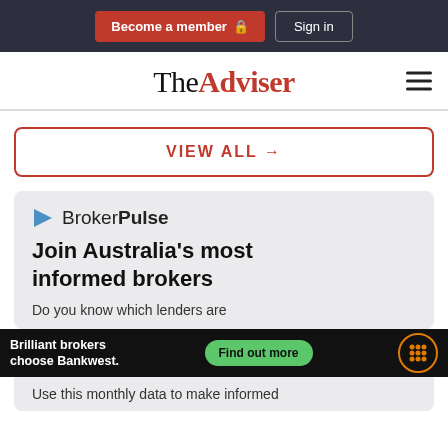Become a member  Sign in
TheAdviser
VIEW ALL →
[Figure (logo): BrokerPulse logo with blue arrow icon]
Join Australia's most informed brokers
Do you know which lenders are
[Figure (infographic): Bankwest advertisement banner: 'Brilliant brokers choose Bankwest.' with 'Find out more' green button and orange dots icon]
Use this monthly data to make informed